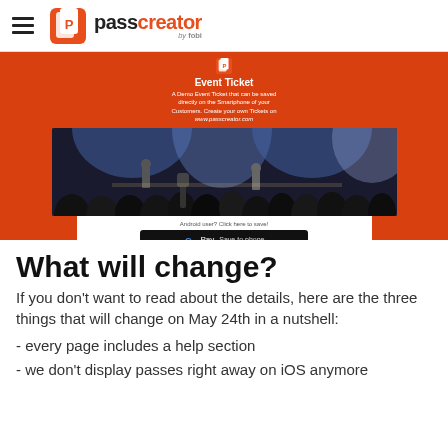passcreator by fobi
[Figure (screenshot): Event Ticket demo screenshot showing an orange/red branded ticket page with a concert crowd photo, Google Pay 'Save to phone' button, and iCloud subscription text]
What will change?
If you don't want to read about the details, here are the three things that will change on May 24th in a nutshell:
- every page includes a help section
- we don't display passes right away on iOS anymore